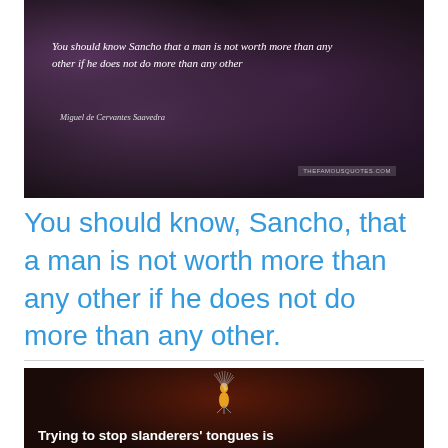[Figure (photo): Dark floral background (orchids) with white cursive text overlay: 'You should know Sancho that a man is not worth more than any other if he does not do more than any other' attributed to Miguel de Cervantes Saavedra, with a thefamousquotes.com watermark]
You should know, Sancho, that a man is not worth more than any other if he does not do more than any other.
[Figure (photo): Dark background with a colorful exotic bird/creature and white bold text overlay beginning: 'Trying to stop slanderers' tongues is lik...']